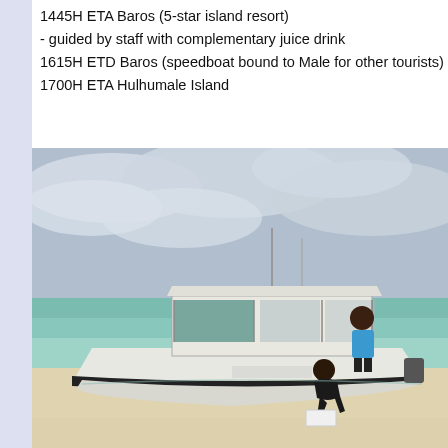1445H ETA Baros (5-star island resort)
- guided by staff with complementary juice drink
1615H ETD Baros (speedboat bound to Male for other tourists)
1700H ETA Hulhumale Island
[Figure (photo): A white speedboat docked on a sandy beach with turquoise water. A person in a blue shirt stands on the boat deck, and another person crouches near the bow on the sand. Cloudy sky in the background.]